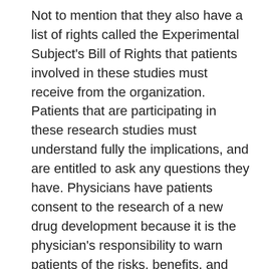Not to mention that they also have a list of rights called the Experimental Subject's Bill of Rights that patients involved in these studies must receive from the organization. Patients that are participating in these research studies must understand fully the implications, and are entitled to ask any questions they have. Physicians have patients consent to the research of a new drug development because it is the physician's responsibility to warn patients of the risks, benefits, and alternatives to the procedure. (Pozgar, 2020)Written consent should be attained from each patient who partakes in a clinical trial. (Pozgar, 2020)Informed consent is more than a piece of paper that says the patient agrees to the drug research study and includes many more aspect. Potential participants must be provided with adequate information to make an informed decision and this must be facilitated that the patient understands, along